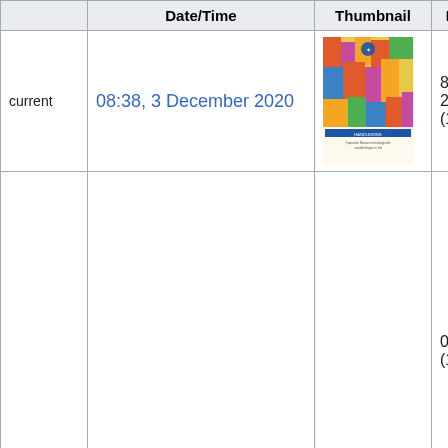|  | Date/Time | Thumbnail | Dimension |
| --- | --- | --- | --- |
| current | 08:38, 3 December 2020 | [thumbnail image] | 872 × 1,239
23 pages
(1.81 MB) |
|  | 15:09, 1 December 2020 | No thumbnail | 0 × 0
(1.84 MB) |